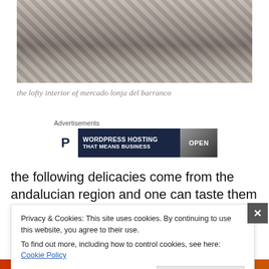[Figure (photo): Interior of Mercado Lonja del Barranco showing people socializing at high tables with patterned tile floor and white furniture]
the lofty interior of mercado lonja del barranco
Advertisements
[Figure (screenshot): Advertisement banner: P logo, WORDPRESS HOSTING THAT MEANS BUSINESS, with OPEN sign image on right]
the following delicacies come from the andalucian region and one can taste them all over town in the many bars.
Privacy & Cookies: This site uses cookies. By continuing to use this website, you agree to their use.
To find out more, including how to control cookies, see here: Cookie Policy
Close and accept